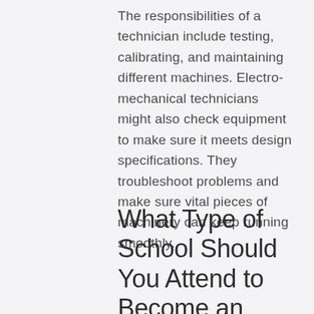The responsibilities of a technician include testing, calibrating, and maintaining different machines. Electro-mechanical technicians might also check equipment to make sure it meets design specifications. They troubleshoot problems and make sure vital pieces of machinery can keep running smoothly.
What Type of School Should You Attend to Become an Electro-Mechanical Technician?